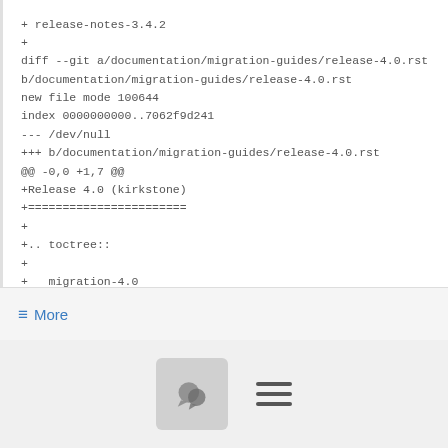+ release-notes-3.4.2
+
diff --git a/documentation/migration-guides/release-4.0.rst b/documentation/migration-guides/release-4.0.rst
new file mode 100644
index 0000000000..7062f9d241
--- /dev/null
+++ b/documentation/migration-guides/release-4.0.rst
@@ -0,0 +1,7 @@
+Release 4.0 (kirkstone)
+=======================
+
+.. toctree::
+
+   migration-4.0
+   release-notes-4.0
≡ More
[Figure (other): Bottom navigation bar with chat bubble icon button and hamburger menu icon]